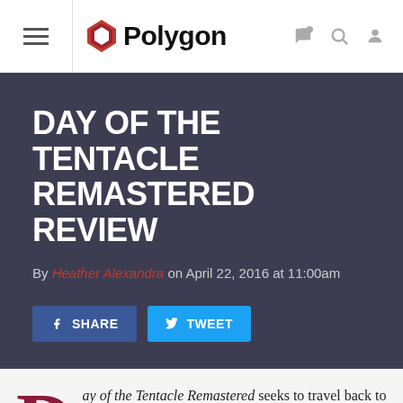Polygon
DAY OF THE TENTACLE REMASTERED REVIEW
By Heather Alexandra on April 22, 2016 at 11:00am
SHARE  TWEET
Day of the Tentacle Remastered seeks to travel back to a time when adventure games were at their height and meant to hit the road